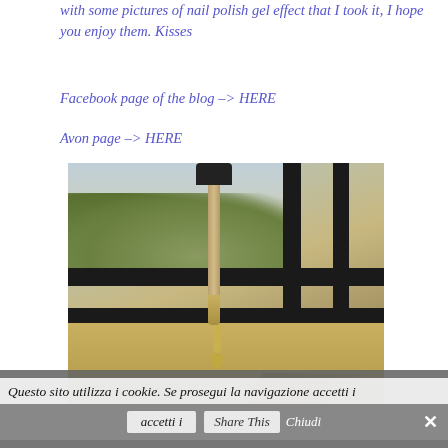with some pictures of nail polish gel effect that I took it, I hope you enjoy them. Kisses
Facebook page of the blog –> HERE
Avon page –> HERE
[Figure (photo): A nail polish brush with yellow/green polish dripping from the wand into an open nail polish bottle, set on an outdoor surface with a black metal fence and blurred trees in the background.]
Questo sito utilizza i cookie. Se prosegui la navigazione accetti i
Share This
Chiudi
×